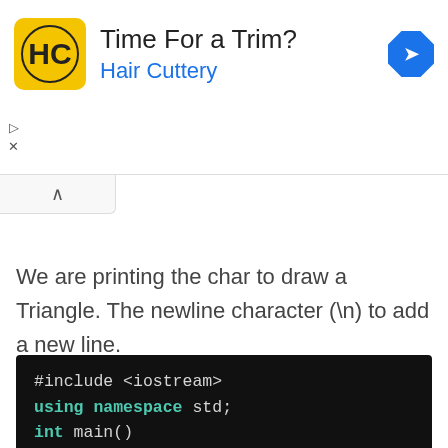[Figure (screenshot): Advertisement banner for Hair Cuttery with yellow logo, title 'Time For a Trim?', subtitle 'Hair Cuttery', and a blue navigation diamond icon on the right. Has play and close controls on the left.]
We are printing the char to draw a Triangle. The newline character (\n) to add a new line.
#include <iostream>
using namespace std;
int main()
{
int i,j;